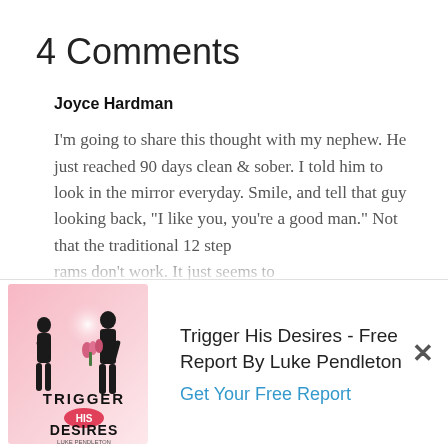4 Comments
Joyce Hardman
I'm going to share this thought with my nephew. He just reached 90 days clean & sober. I told him to look in the mirror everyday. Smile, and tell that guy looking back, “I like you, you’re a good man.” Not that the traditional 12 step rams don’t work. It just seems to f one is going to tell themself and
[Figure (illustration): Book cover for 'Trigger His Desires' by Luke Pendleton showing silhouettes of a man and woman on a pink/white background]
Trigger His Desires - Free Report By Luke Pendleton
Get Your Free Report